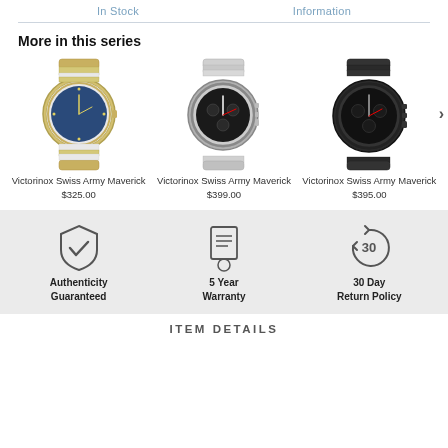In Stock   Information
More in this series
[Figure (photo): Victorinox Swiss Army Maverick watch with blue dial and two-tone gold/silver bracelet]
Victorinox Swiss Army Maverick
$325.00
[Figure (photo): Victorinox Swiss Army Maverick chronograph watch with black dial and silver bracelet]
Victorinox Swiss Army Maverick
$399.00
[Figure (photo): Victorinox Swiss Army Maverick chronograph watch with dark/black dial and black bracelet]
Victorinox Swiss Army Maverick
$395.00
[Figure (infographic): Authenticity Guaranteed shield icon with checkmark]
Authenticity Guaranteed
[Figure (infographic): 5 Year Warranty document/certificate icon]
5 Year Warranty
[Figure (infographic): 30 Day Return Policy circular arrow icon with 30 inside]
30 Day Return Policy
ITEM DETAILS